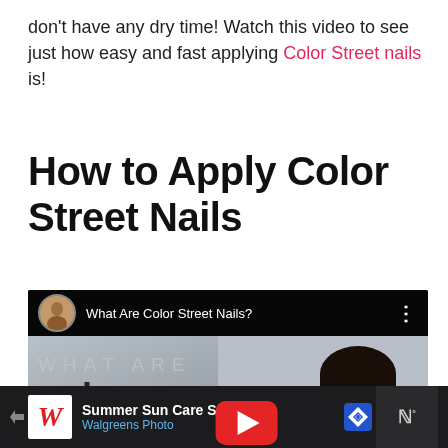don't have any dry time! Watch this video to see just how easy and fast applying Color Street nails is!
How to Apply Color Street Nails
[Figure (screenshot): YouTube video thumbnail for 'What Are Color Street Nails?' showing a woman smiling with Color Street branding overlay and a red play button in the center.]
[Figure (screenshot): Advertisement bar for Walgreens Photo showing 'Summer Sun Care Savings' with Walgreens logo, a blue navigation arrow icon, and another icon on the right.]